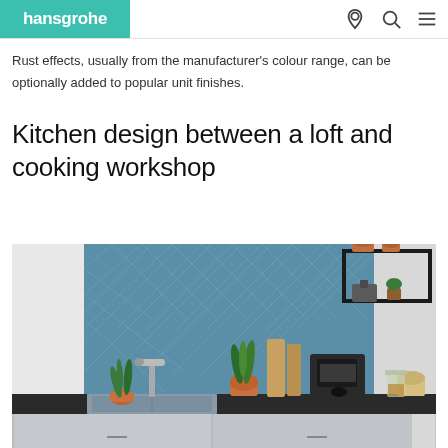hansgrohe
Rust effects, usually from the manufacturer's colour range, can be optionally added to popular unit finishes.
Kitchen design between a loft and cooking workshop
[Figure (photo): Kitchen interior with blue tiled backsplash, stainless steel sink with faucet, plants in terracotta pots, wooden cutting boards, a coffee machine, and black metal wall shelving unit above the counter.]